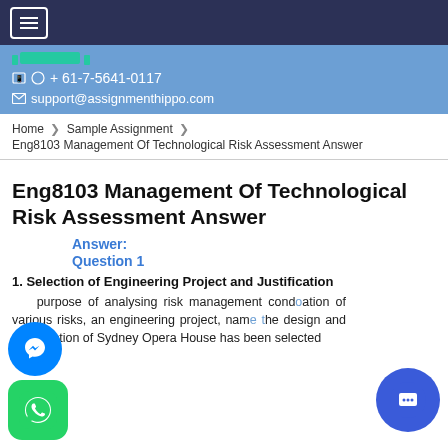☰ (navigation menu)
📱 ©️ + 61-7-5641-0117
✉ support@assignmenthippo.com
Home ❯ Sample Assignment ❯ Eng8103 Management Of Technological Risk Assessment Answer
Eng8103 Management Of Technological Risk Assessment Answer
Answer:
Question 1
1. Selection of Engineering Project and Justification
purpose of analysing risk management cond ation of various risks, an engineering project, nam  e design and construction of Sydney Opera House has been selected